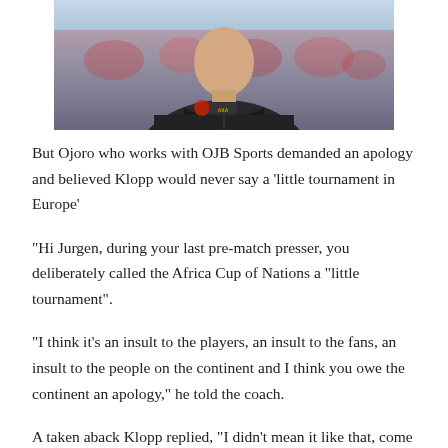[Figure (photo): A man in a dark LFC AXA branded jacket, partially visible from the torso up, photographed outdoors with a blurred crowd background.]
But Ojoro who works with OJB Sports demanded an apology and believed Klopp would never say a 'little tournament in Europe'
“Hi Jurgen, during your last pre-match presser, you deliberately called the Africa Cup of Nations a "little tournament".
“I think it's an insult to the players, an insult to the fans, an insult to the people on the continent and I think you owe the continent an apology,” he told the coach.
A taken aback Klopp replied, "I didn't mean it like that, come on," Klopp said. "So I was not even close to it being